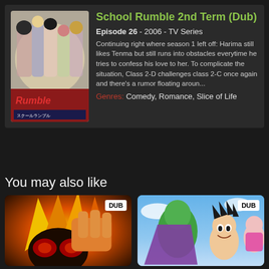[Figure (illustration): Anime poster for School Rumble 2nd Term showing multiple anime characters grouped together with Japanese text at the bottom]
School Rumble 2nd Term (Dub)
Episode 26 - 2006 - TV Series
Continuing right where season 1 left off: Harima still likes Tenma but still runs into obstacles everytime he tries to confess his love to her. To complicate the situation, Class 2-D challenges class 2-C once again and there's a rumor floating aroun...
Genres: Comedy, Romance, Slice of Life
You may also like
[Figure (illustration): Anime artwork showing a close-up of a character with spiky hair in yellow and orange tones, appears to be Dragon Ball Z related. DUB badge in top right.]
[Figure (illustration): Anime artwork showing characters including a green character and a young boy with spiky hair, appears to be Dragon Ball related. DUB badge in top right.]